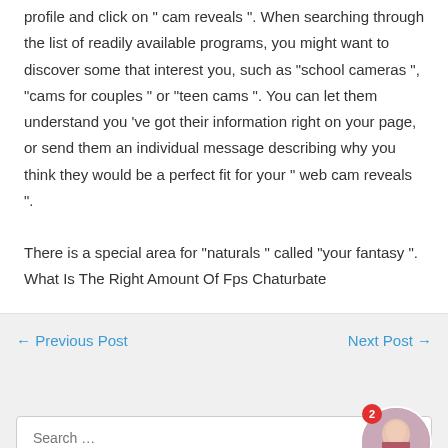profile and click on " cam reveals ". When searching through the list of readily available programs, you might want to discover some that interest you, such as “school cameras ”, “cams for couples ” or “teen cams ”. You can let them understand you ’ve got their information right on your page, or send them an individual message describing why you think they would be a perfect fit for your " web cam reveals ".
There is a special area for “naturals ” called “your fantasy ”. What Is The Right Amount Of Fps Chaturbate
← Previous Post
Next Post →
Search …